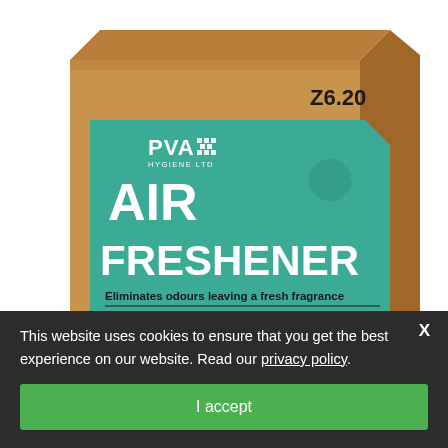[Figure (photo): A cardboard box of PVA Hygiene Ltd product Z6.20 Air Freshener with a teal/green label reading 'AIR FRESHENER', tagline 'Eliminates odours leaving a fresh fragrance', recycling and zero-waste icons, and product details partially visible.]
This website uses cookies to ensure that you get the best experience on our website. Read our privacy policy.
I accept